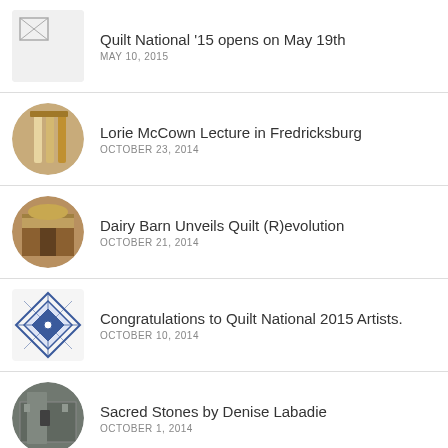Quilt National '15 opens on May 19th
MAY 10, 2015
Lorie McCown Lecture in Fredricksburg
OCTOBER 23, 2014
Dairy Barn Unveils Quilt (R)evolution
OCTOBER 21, 2014
Congratulations to Quilt National 2015 Artists.
OCTOBER 10, 2014
Sacred Stones by Denise Labadie
OCTOBER 1, 2014
QUILT NATIONAL 2013 ON TOUR
Dunedin, FL
Dunedin Fine Art Center